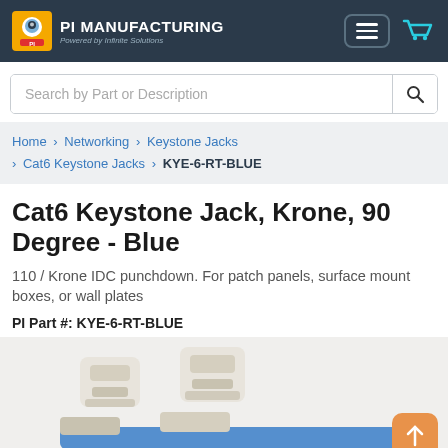PI MANUFACTURING — Powered by Infinite Solutions
Search by Part or Description
Home > Networking > Keystone Jacks > Cat6 Keystone Jacks > KYE-6-RT-BLUE
Cat6 Keystone Jack, Krone, 90 Degree - Blue
110 / Krone IDC punchdown. For patch panels, surface mount boxes, or wall plates
PI Part #: KYE-6-RT-BLUE
[Figure (photo): Photo of blue Cat6 Keystone Jack connectors, white/cream colored plastic punchdown blocks with a blue cable insert visible at bottom]